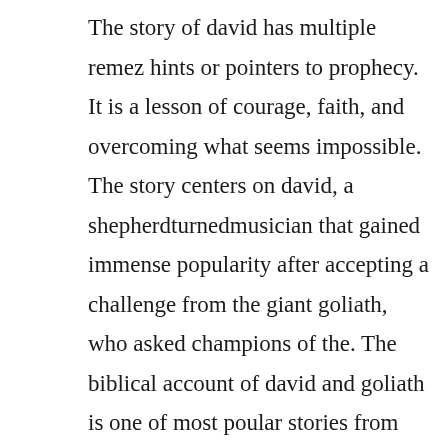The story of david has multiple remez hints or pointers to prophecy. It is a lesson of courage, faith, and overcoming what seems impossible. The story centers on david, a shepherdturnedmusician that gained immense popularity after accepting a challenge from the giant goliath, who asked champions of the. The biblical account of david and goliath is one of most poular stories from scripture. Use features like bookmarks, note taking and highlighting while reading david and goliath. This idea is postured in the story of david and goliath in the old testament, where david is a